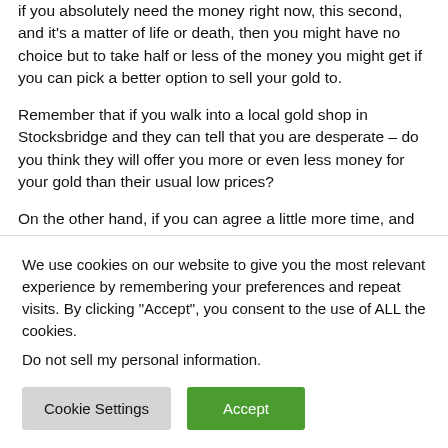if you absolutely need the money right now, this second, and it's a matter of life or death, then you might have no choice but to take half or less of the money you might get if you can pick a better option to sell your gold to.
Remember that if you walk into a local gold shop in Stocksbridge and they can tell that you are desperate – do you think they will offer you more or even less money for your gold than their usual low prices?
On the other hand, if you can agree a little more time, and then use an online dealer to sell your gold to, then you could
We use cookies on our website to give you the most relevant experience by remembering your preferences and repeat visits. By clicking "Accept", you consent to the use of ALL the cookies.
Do not sell my personal information.